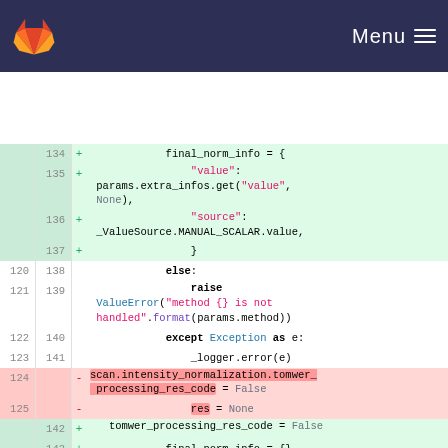GitLab — Menu
[Figure (screenshot): Git diff view showing code changes. Added lines (green): final_norm_info = { "value": params.extra_infos.get("value", None), "source": _ValueSource.MANUAL_SCALAR.value, }. Neutral lines: else:, raise ValueError("method {} is not handled".format(params.method)), except Exception as e:, _logger.error(e). Removed lines (red): scan.intensity_normalization.tomwer_processing_res_code = False, res = None. Added lines (green): tomwer_processing_res_code = False, final_norm_info = {}]